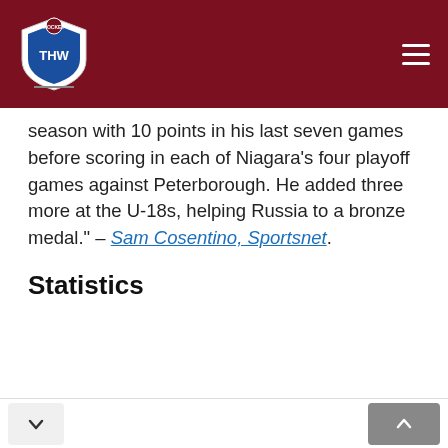THW
season with 10 points in his last seven games before scoring in each of Niagara's four playoff games against Peterborough. He added three more at the U-18s, helping Russia to a bronze medal." – Sam Cosentino, Sportsnet.
Statistics